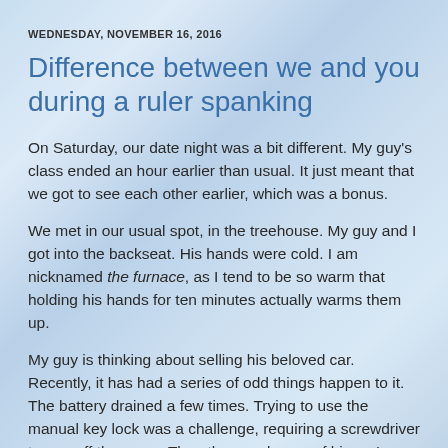WEDNESDAY, NOVEMBER 16, 2016
Difference between we and you during a ruler spanking
On Saturday, our date night was a bit different. My guy's class ended an hour earlier than usual. It just meant that we got to see each other earlier, which was a bonus.
We met in our usual spot, in the treehouse. My guy and I got into the backseat. His hands were cold. I am nicknamed the furnace, as I tend to be so warm that holding his hands for ten minutes actually warms them up.
My guy is thinking about selling his beloved car. Recently, it has had a series of odd things happen to it. The battery drained a few times. Trying to use the manual key lock was a challenge, requiring a screwdriver to pop off the cover. The other week, one of his car's headlights died. Screwing in the lightbulb took a visit to a mechanic to diagnose the issue.